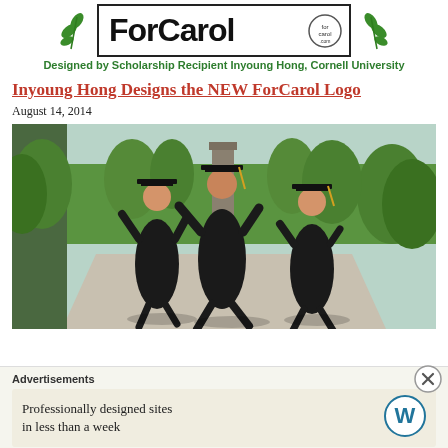[Figure (logo): ForCarol.com logo with decorative hand-lettered text and leaf/branch decorations on either side, with circular ForCarol.com emblems]
Designed by Scholarship Recipient Inyoung Hong, Cornell University
Inyoung Hong Designs the NEW ForCarol Logo
August 14, 2014
[Figure (photo): Three graduates in black caps and gowns jumping joyfully on a campus walkway surrounded by trees, with a stone tower in the background. Cornell University campus.]
Advertisements
Professionally designed sites in less than a week